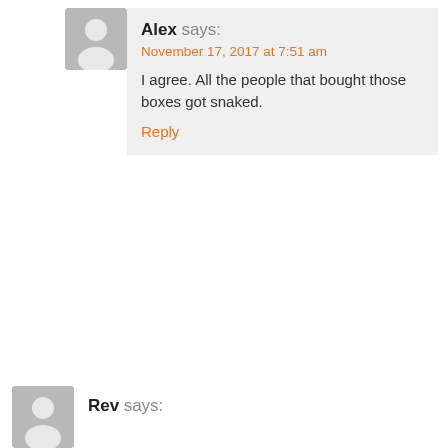Alex says: November 17, 2017 at 7:51 am
I agree. All the people that bought those boxes got snaked.
Reply
Rev says: